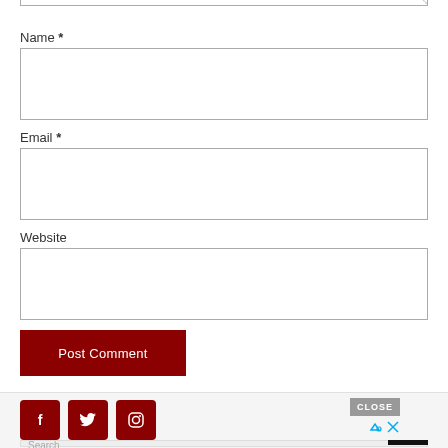Name *
Email *
Website
Post Comment
[Figure (other): Social media icons: Facebook, Twitter, Instagram (dark red squares with white icons)]
[Figure (other): CLOSE button with ad icons]
Search